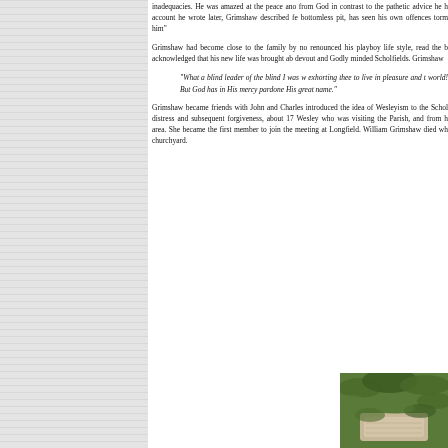inadequacies. He was amazed at the peace and from God in contrast to the pathetic advice he h account he wrote later, Grimshaw described fe bottomless pit, has seen his own offences torm him"
Grimshaw had become close to the family by no renounced his playboy life style, read the b acknowledged that his new life was brought ab devout and Godly minded Scholfields. Grimshaw
"What a blind leader of the blind I was w exhorting thee to live in pleasure and t world! But God has in His mercy pardone His great name."
Grimshaw became friends with John and Charles introduced the idea of Wesleyism to the Schol distress and subsequent forgiveness, about 17 Wesley who was visiting the Parish, and from h area. She became the first member to join the meeting at Longfield. William Grimshaw died wh churchyard.
[Figure (photo): Photo of what appears to be a gravestone or memorial stone surrounded by green foliage/ferns in a churchyard]